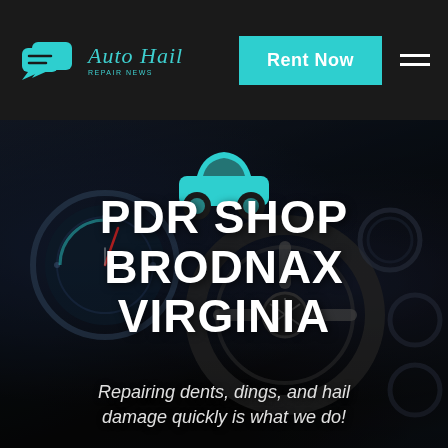Auto Hail Repair News — Rent Now [navigation logo and button]
[Figure (screenshot): Website hero section for Auto Hail Repair News showing a dark car interior dashboard background with a teal car icon, bold white title PDR SHOP BRODNAX VIRGINIA, and subtitle Repairing dents, dings, and hail damage quickly is what we do!]
PDR SHOP BRODNAX VIRGINIA
Repairing dents, dings, and hail damage quickly is what we do!